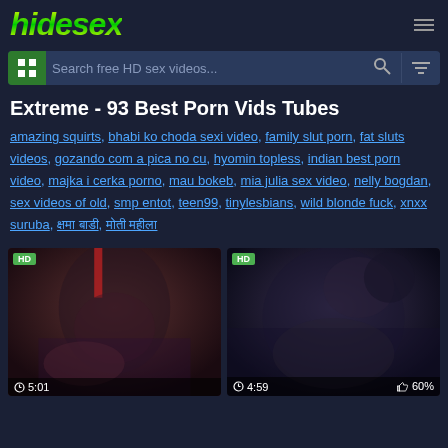hidesex
Search free HD sex videos...
Extreme - 93 Best Porn Vids Tubes
amazing squirts, bhabi ko choda sexi video, family slut porn, fat sluts videos, gozando com a pica no cu, hyomin topless, indian best porn video, majka i cerka porno, mau bokeb, mia julia sex video, nelly bogdan, sex videos of old, smp entot, teen99, tinylesbians, wild blonde fuck, xnxx suruba, क्षमा बाडी, मोती महीला
[Figure (photo): Video thumbnail left, HD badge, duration 5:01]
[Figure (photo): Video thumbnail right, HD badge, duration 4:59, 60% likes]